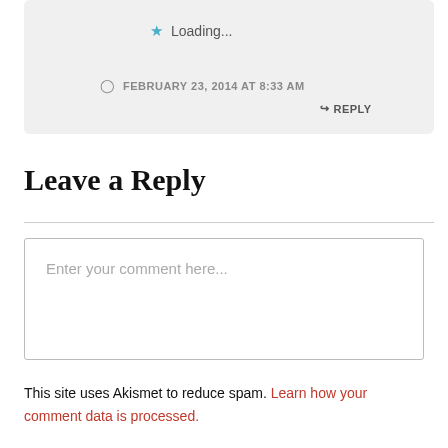Loading...
FEBRUARY 23, 2014 AT 8:33 AM
↳ REPLY
Leave a Reply
Enter your comment here...
This site uses Akismet to reduce spam. Learn how your comment data is processed.